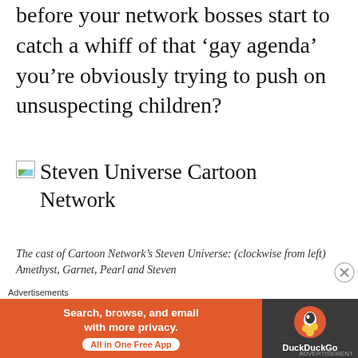before your network bosses start to catch a whiff of that ‘gay agenda’ you’re obviously trying to push on unsuspecting children?
[Figure (illustration): Broken image placeholder icon followed by title text: Steven Universe Cartoon Network]
The cast of Cartoon Network’s Steven Universe: (clockwise from left) Amethyst, Garnet, Pearl and Steven
This is a question that ‘Steven Universe’ creator Rebecca Sugar has had to face in the wake of Cartoon N...
Advertisements
[Figure (infographic): DuckDuckGo advertisement banner. Left orange section: Search, browse, and email with more privacy. All in One Free App. Right dark section: DuckDuckGo logo and name.]